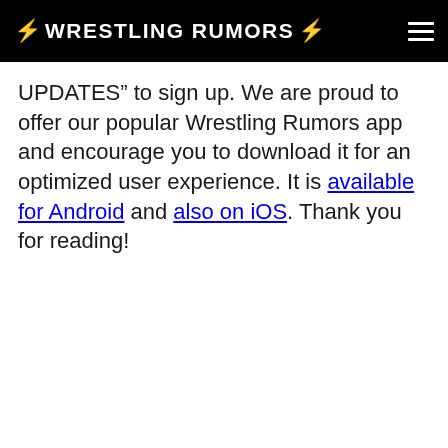WRESTLING RUMORS
UPDATES” to sign up. We are proud to offer our popular Wrestling Rumors app and encourage you to download it for an optimized user experience. It is available for Android and also on iOS. Thank you for reading!